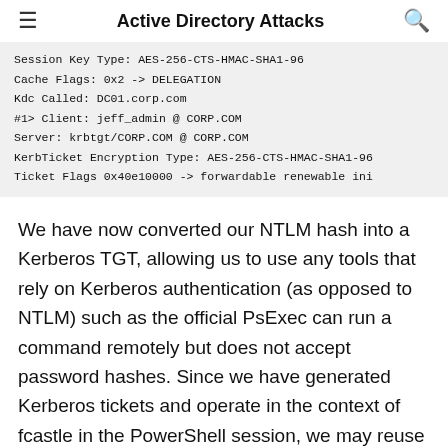Active Directory Attacks
Session Key Type: AES-256-CTS-HMAC-SHA1-96
Cache Flags: 0x2 -> DELEGATION
Kdc Called: DC01.corp.com
#1> Client: jeff_admin @ CORP.COM
Server: krbtgt/CORP.COM @ CORP.COM
KerbTicket Encryption Type: AES-256-CTS-HMAC-SHA1-96
Ticket Flags 0x40e10000 -> forwardable renewable ini
We have now converted our NTLM hash into a Kerberos TGT, allowing us to use any tools that rely on Kerberos authentication (as opposed to NTLM) such as the official PsExec can run a command remotely but does not accept password hashes. Since we have generated Kerberos tickets and operate in the context of fcastle in the PowerShell session, we may reuse the TGT to obtain